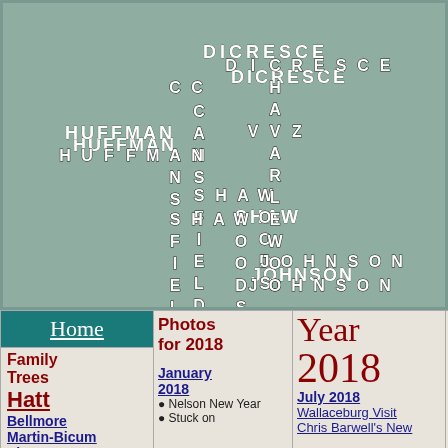[Figure (other): Crossword-style arrangement of family surnames: DICRESCE, HUFFMAN, CHAVARLEWOOD, VAZ, MCDONALD, PATTERSON, CANSFIELDWOODS, SHAW, JOHNSON, DODSWORTH, HATT, MCNAUGH]
Home
Family Trees
Hatt
Bellmore
Martin-Bicum
Shaw
Photos for 2018
Year 2018
Sp
January 2018
• Nelson New Year
• Stuck on
July 2018
Wallaceburg Visit
Chris Barwell's New
Janice T